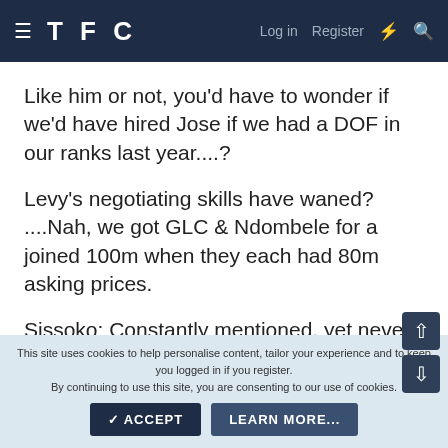TFC  Log in  Register
Like him or not, you'd have to wonder if we'd have hired Jose if we had a DOF in our ranks last year....?
Levy's negotiating skills have waned? ....Nah, we got GLC & Ndombele for a joined 100m when they each had 80m asking prices.
Sissoko: Constantly mentioned, yet never evidenced beyond than "yeh, but Poch wanted Mane"... Show me something which validates the claim that Poch "didn't
This site uses cookies to help personalise content, tailor your experience and to keep you logged in if you register.
By continuing to use this site, you are consenting to our use of cookies.
ACCEPT  LEARN MORE...